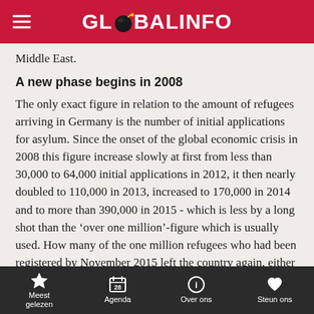GLOBALINFO
Middle East.
A new phase begins in 2008
The only exact figure in relation to the amount of refugees arriving in Germany is the number of initial applications for asylum. Since the onset of the global economic crisis in 2008 this figure increase slowly at first from less than 30,000 to 64,000 initial applications in 2012, it then nearly doubled to 110,000 in 2013, increased to 170,000 in 2014 and to more than 390,000 in 2015 - which is less by a long shot than the ‘over one million’-figure which is usually used. How many of the one million refugees who had been registered by November 2015 left the country again, either by
Meest gelezen | Agenda | Over ons | Steun ons